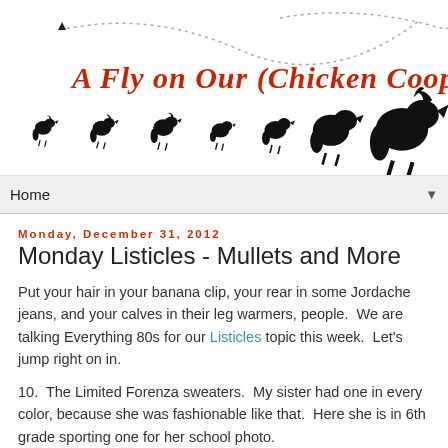[Figure (illustration): Blog header banner with red cursive text 'A Fly on Our (Chicken Coop) Wall' and silhouettes of roosters/chickens in increasing size from left to right, with a dotted curved line in the background.]
Home ▼
Monday, December 31, 2012
Monday Listicles - Mullets and More
Put your hair in your banana clip, your rear in some Jordache jeans, and your calves in their leg warmers, people.  We are talking Everything 80s for our Listicles topic this week.  Let's jump right on in.
10.  The Limited Forenza sweaters.  My sister had one in every color, because she was fashionable like that.  Here she is in 6th grade sporting one for her school photo.